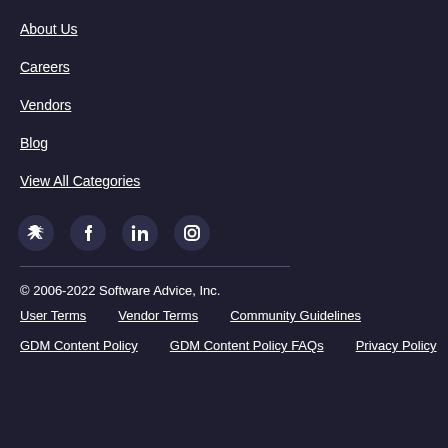About Us
Careers
Vendors
Blog
View All Categories
[Figure (infographic): Social media icons: Twitter, Facebook, LinkedIn, Instagram]
© 2006-2022 Software Advice, Inc.
User Terms   Vendor Terms   Community Guidelines
GDM Content Policy   GDM Content Policy FAQs   Privacy Policy